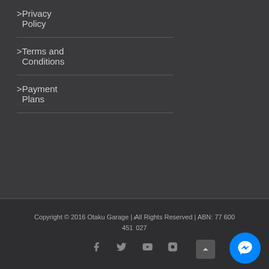Privacy Policy
Terms and Conditions
Payment Plans
Copyright © 2016 Otaku Garage | All Rights Reserved | ABN: 77 600 451 027